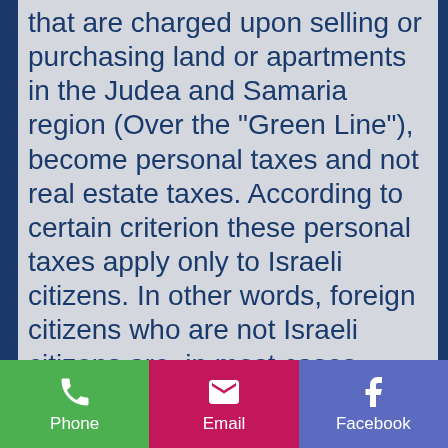that are charged upon selling or purchasing land or apartments in the Judea and Samaria region (Over the "Green Line"), become personal taxes and not real estate taxes. According to certain criterion these personal taxes apply only to Israeli citizens. In other words, foreign citizens who are not Israeli citizens are, in most cases, exempted from paying Israeli personal and real estate taxes on the purchase and sale of real estate in Judea and Samaria. Please note, we are focusing only on Israeli taxes. Plea...
[Figure (infographic): Bottom navigation bar with three buttons: Phone (green background, phone icon), Email (magenta/pink background, envelope icon), Facebook (purple background, Facebook icon)]